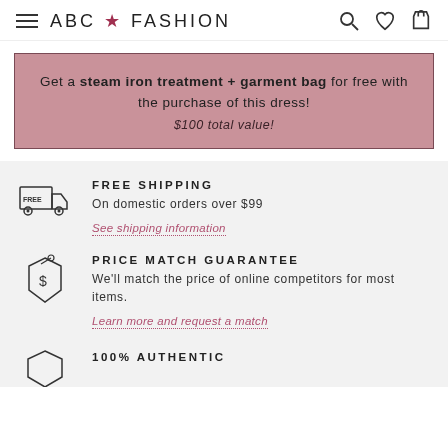ABC ★ FASHION
Get a steam iron treatment + garment bag for free with the purchase of this dress! $100 total value!
FREE SHIPPING
On domestic orders over $99
See shipping information
PRICE MATCH GUARANTEE
We'll match the price of online competitors for most items.
Learn more and request a match
100% AUTHENTIC